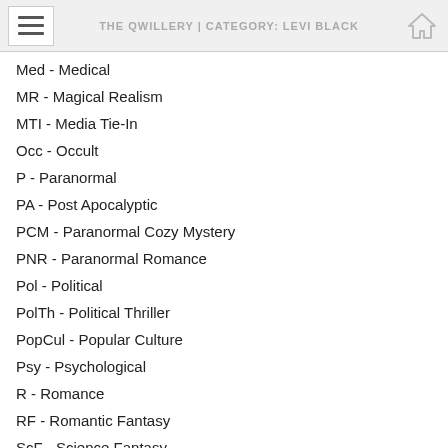THE QWILLERY | CATEGORY: LEVI BLACK
Med - Medical
MR - Magical Realism
MTI - Media Tie-In
Occ - Occult
P - Paranormal
PA - Post Apocalyptic
PCM - Paranormal Cozy Mystery
PNR - Paranormal Romance
Pol - Political
PolTh - Political Thriller
PopCul - Popular Culture
Psy - Psychological
R - Romance
RF - Romantic Fantasy
ScF - Science Fantasy
SE - Space Exploration
SF - Science Fiction